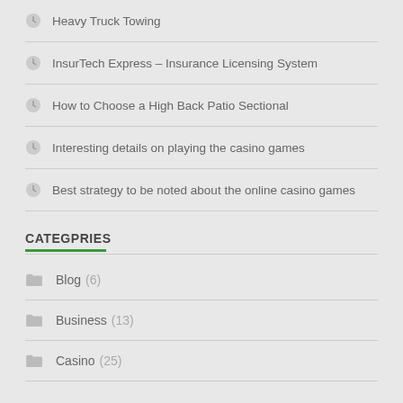Heavy Truck Towing
InsurTech Express – Insurance Licensing System
How to Choose a High Back Patio Sectional
Interesting details on playing the casino games
Best strategy to be noted about the online casino games
CATEGPRIES
Blog (6)
Business (13)
Casino (25)